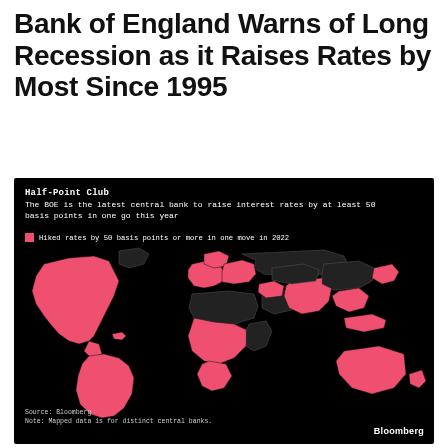Bank of England Warns of Long Recession as it Raises Rates by Most Since 1995
[Figure (map): World map showing countries whose central banks hiked rates by 50 basis points or more in one move in 2022. Countries highlighted in pink/red include the United States, Canada, much of South America, UK/Europe, Australia, India, and others. Countries not highlighted (shown in black outlines only) include China, Russia, and parts of Africa/Asia.]